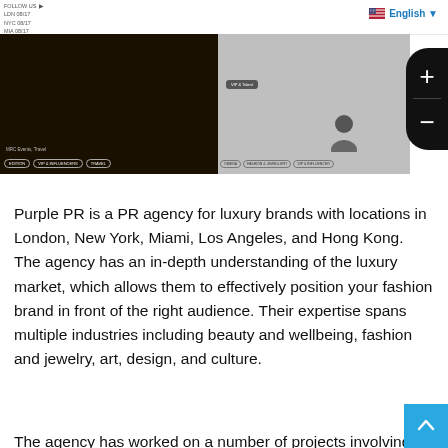FOLLOW US  LDN 0/17  NYC 08/17  MIA 08/17  LA 05/17  HK 2017  English
[Figure (screenshot): Screenshot of Purple PR website showing two video/article thumbnails with tags: EDITION, VIP & INFLUENCERS, TRAVEL on the left; OMEGA, FASHION & JEWELLERY, VIP & INFLUENCER on the right. A zoom in/out control is visible on the right edge.]
Purple PR is a PR agency for luxury brands with locations in London, New York, Miami, Los Angeles, and Hong Kong. The agency has an in-depth understanding of the luxury market, which allows them to effectively position your fashion brand in front of the right audience. Their expertise spans multiple industries including beauty and wellbeing, fashion and jewelry, art, design, and culture.
The agency has worked on a number of projects involving